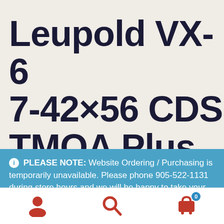Leupold VX-6 7-42×56 CDS TMOA Plus
ℹ PLEASE NOTE: Website Ordering / Purchasing is temporarily unavailable. Please phone 905-522-1131 during store hours and we will be happy to take your order.
Dismiss
[Figure (other): Bottom navigation bar with user account icon, search icon, and shopping cart icon with badge showing 0]